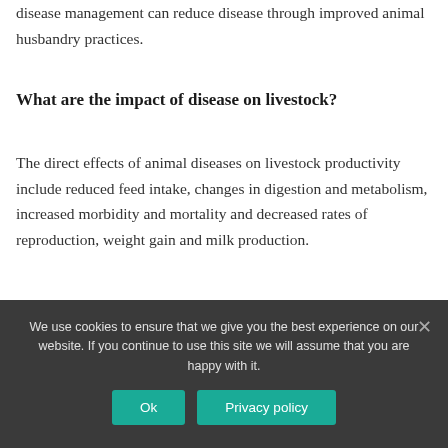disease management can reduce disease through improved animal husbandry practices.
What are the impact of disease on livestock?
The direct effects of animal diseases on livestock productivity include reduced feed intake, changes in digestion and metabolism, increased morbidity and mortality and decreased rates of reproduction, weight gain and milk production.
What are the impacts of disease
We use cookies to ensure that we give you the best experience on our website. If you continue to use this site we will assume that you are happy with it.